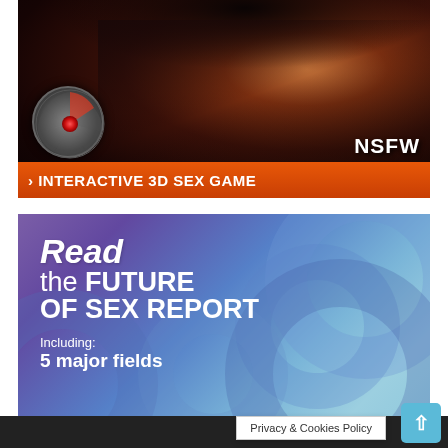[Figure (illustration): Advertisement banner for an interactive 3D sex game (NSFW). Shows a dark stylized 3D rendered figure with a circular dial/menu overlay on the left side, and 'NSFW' text badge on the lower right. Orange bar at the bottom reads '> INTERACTIVE 3D SEX GAME'.]
[Figure (infographic): Advertisement banner with purple-to-blue gradient background and overlapping translucent circles. White text reads: 'Read the FUTURE OF SEX REPORT. Including: 5 major fields'.]
Privacy & Cookies Policy